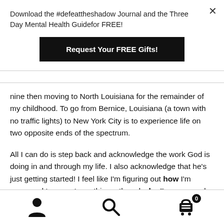Download the #defeattheshadow Journal and the Three Day Mental Health Guidefor FREE!
Request Your FREE Gifts!
nine then moving to North Louisiana for the remainder of my childhood. To go from Bernice, Louisiana (a town with no traffic lights) to New York City is to experience life on two opposite ends of the spectrum.
All I can do is step back and acknowledge the work God is doing in and through my life. I also acknowledge that he’s just getting started! I feel like I’m figuring out how I’m supposed to operate on this earth and why I’m supposed
[Figure (infographic): Bottom navigation toolbar with user icon, search icon, and shopping cart icon with badge showing 0]